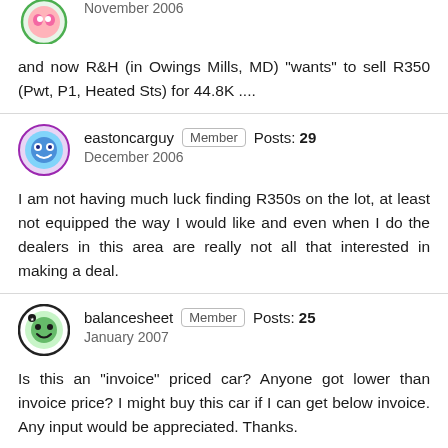[Figure (illustration): Partial avatar icon (circular, pink/white) at top left corner, partially cropped]
November 2006
and now R&H (in Owings Mills, MD) "wants" to sell R350 (Pwt, P1, Heated Sts) for 44.8K ....
[Figure (illustration): Avatar icon (circular, blue/purple with face design) for user eastoncarguy]
eastoncarguy   Member   Posts: 29
December 2006
I am not having much luck finding R350s on the lot, at least not equipped the way I would like and even when I do the dealers in this area are really not all that interested in making a deal.
[Figure (illustration): Avatar icon (circular, dark border with green smiley face) for user balancesheet]
balancesheet   Member   Posts: 25
January 2007
Is this an "invoice" priced car? Anyone got lower than invoice price? I might buy this car if I can get below invoice. Any input would be appreciated. Thanks.